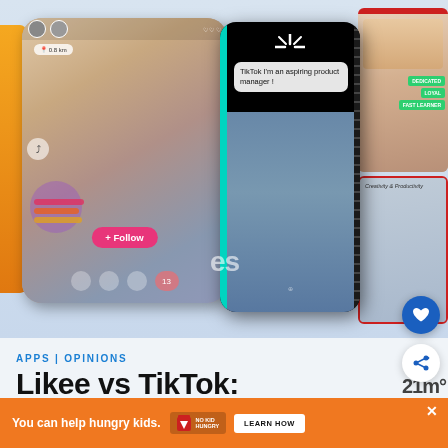[Figure (photo): Hero image showing Likee app on the left with a woman making a heart shape with hands, TikTok app in the center dark phone, and collage of social media videos on the right]
APPS | OPINIONS
Likee vs TikTok:
[Figure (infographic): Orange advertisement banner: 'You can help hungry kids.' with No Kid Hungry logo and LEARN HOW button]